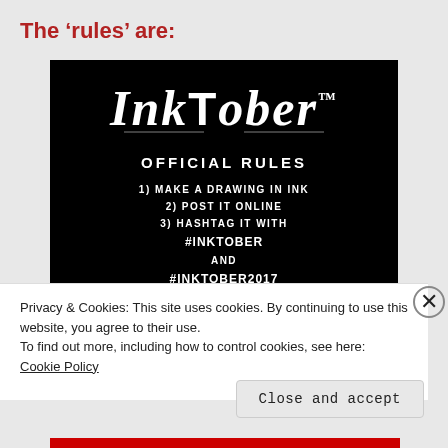The ‘rules’ are:
[Figure (illustration): Inktober Official Rules image on black background. Shows stylized 'Inktober' logo in white script lettering, 'OFFICIAL RULES' heading, and rules: 1) MAKE A DRAWING IN INK, 2) POST IT ONLINE, 3) HASHTAG IT WITH #INKTOBER AND #INKTOBER2017, 4) REPEAT EVERY DAY OF OCTOBER (partially cut off)]
Privacy & Cookies: This site uses cookies. By continuing to use this website, you agree to their use.
To find out more, including how to control cookies, see here: Cookie Policy
Close and accept